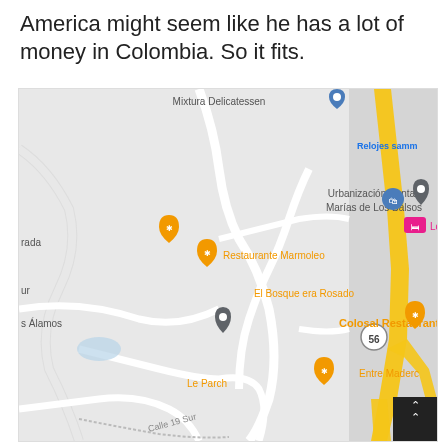America might seem like he has a lot of money in Colombia. So it fits.
[Figure (map): Google Maps screenshot showing area near Urbanización Santas Marías de Los Balsos in Colombia. Visible locations include: Mixtura Delicatessen (top), Urbanización Santas Marías de Los Balsos, Relojes samm (partially visible), Restaurante Marmoleo, El Bosque era Rosado, Colosal Restaurante, Le Parch, Entre Maderc (partially visible), s Álamos, rada, Los (partially visible hotel icon). Road 56 visible. Yellow highway visible on right side. Calle 19 Sur label at bottom left.]